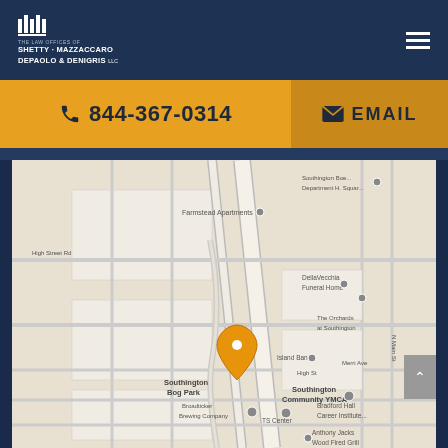[Figure (logo): Law offices logo with columns icon and firm name: THE LAW OFFICES OF SHETTY · MAZZACCARO DEPAOLO & DENIGRIS LLC]
844-367-0314
EMAIL
[Figure (map): Google Maps screenshot showing Southington area with a pin marker near Southington Dog Park, showing nearby landmarks including DellaVecchia Funeral Home, The Orchards at Southington, Southington Community YMCA, Bradford Hall Career Institute, and Anthony Jacko Wood Fired Grill]